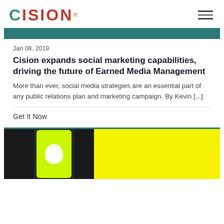CISION
Jan 08, 2019
Cision expands social marketing capabilities, driving the future of Earned Media Management
More than ever, social media strategies are an essential part of any public relations plan and marketing campaign. By Kevin [...]
Get It Now
[Figure (photo): Smartphone showing Snapchat app on a yellow background with dark textured surface]